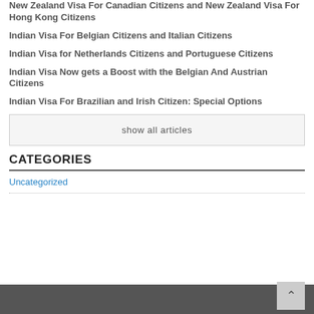New Zealand Visa For Canadian Citizens and New Zealand Visa For Hong Kong Citizens
Indian Visa For Belgian Citizens and Italian Citizens
Indian Visa for Netherlands Citizens and Portuguese Citizens
Indian Visa Now gets a Boost with the Belgian And Austrian Citizens
Indian Visa For Brazilian and Irish Citizen: Special Options
show all articles
CATEGORIES
Uncategorized